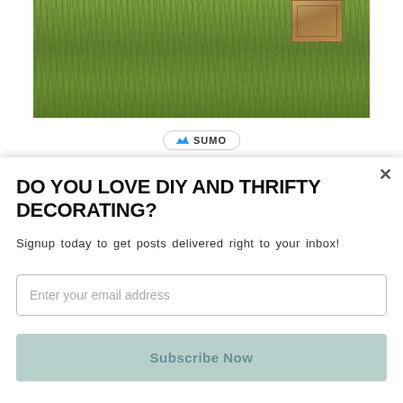[Figure (photo): Outdoor garden photo showing a green grass lawn with a wooden raised bed planter box visible in the upper right corner]
[Figure (logo): Sumo logo badge with crown icon and SUMO text in a rounded pill shape]
DO YOU LOVE DIY AND THRIFTY DECORATING?
Signup today to get posts delivered right to your inbox!
Enter your email address
Subscribe Now